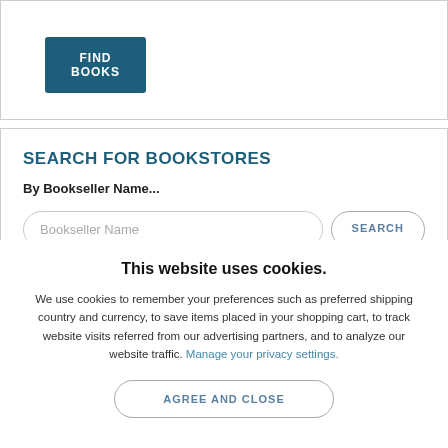FIND BOOKS
SEARCH FOR BOOKSTORES
By Bookseller Name...
Bookseller Name [input] SEARCH
This website uses cookies.
We use cookies to remember your preferences such as preferred shipping country and currency, to save items placed in your shopping cart, to track website visits referred from our advertising partners, and to analyze our website traffic. Manage your privacy settings.
AGREE AND CLOSE